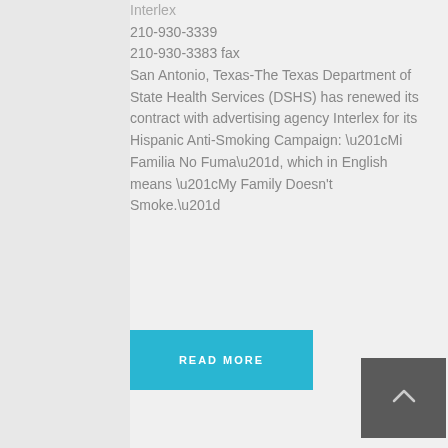Interlex
210-930-3339
210-930-3383 fax
San Antonio, Texas-The Texas Department of State Health Services (DSHS) has renewed its contract with advertising agency Interlex for its Hispanic Anti-Smoking Campaign: “Mi Familia No Fuma”, which in English means “My Family Doesn't Smoke.”
READ MORE